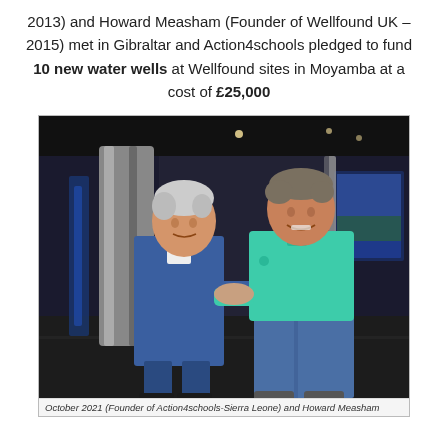2013) and Howard Measham (Founder of Wellfound UK – 2015) met in Gibraltar and Action4schools pledged to fund 10 new water wells at Wellfound sites in Moyamba at a cost of £25,000
[Figure (photo): Two men shaking hands in a modern lobby/hotel interior. The man on the left wears a blue suit, the man on the right wears a teal/mint polo shirt and jeans. Behind them are decorative pillars, a dark ceiling, and a screen showing a landscape image.]
October 2021 (Founder of Action4schools-Sierra Leone) and Howard Measham